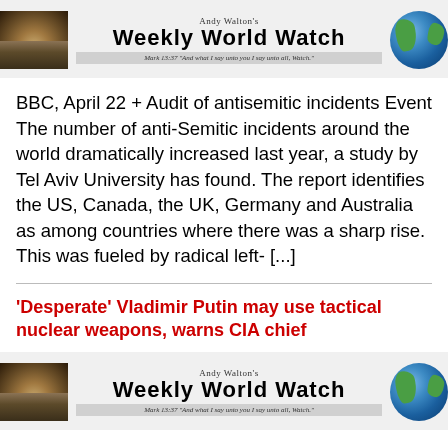Andy Walton's Weekly World Watch — Mark 13:37 "And what I say unto you I say unto all, Watch."
BBC, April 22 + Audit of antisemitic incidents Event The number of anti-Semitic incidents around the world dramatically increased last year, a study by Tel Aviv University has found. The report identifies the US, Canada, the UK, Germany and Australia as among countries where there was a sharp rise. This was fueled by radical left- [...]
'Desperate' Vladimir Putin may use tactical nuclear weapons, warns CIA chief
Andy Walton's Weekly World Watch — Mark 13:37 "And what I say unto you I say unto all, Watch."